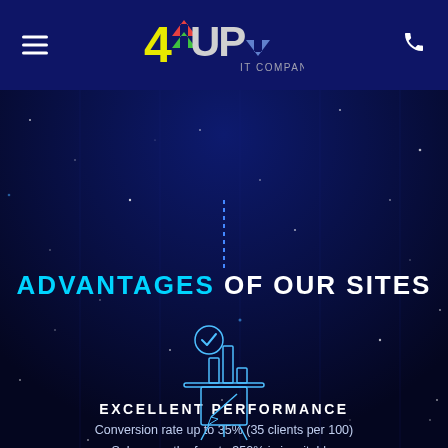[Figure (logo): 4UP IT Company logo with colorful arrow and text]
ADVANTAGES OF OUR SITES
[Figure (illustration): Analytics/performance icon: bar chart with a checkmark, outlined in cyan]
EXCELLENT PERFORMANCE
Conversion rate up to 35% (35 clients per 100)
Sales growth of up to 350% is inevitable.
[Figure (illustration): Design/creative icon: easel with pencil, outlined in cyan]